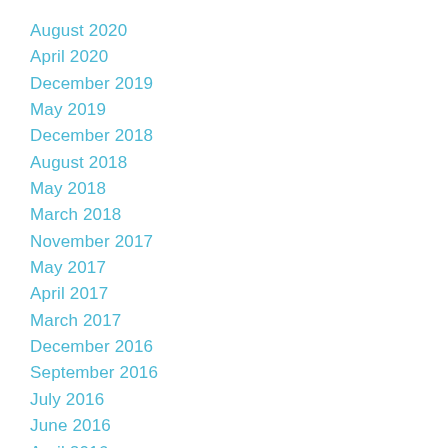August 2020
April 2020
December 2019
May 2019
December 2018
August 2018
May 2018
March 2018
November 2017
May 2017
April 2017
March 2017
December 2016
September 2016
July 2016
June 2016
April 2016